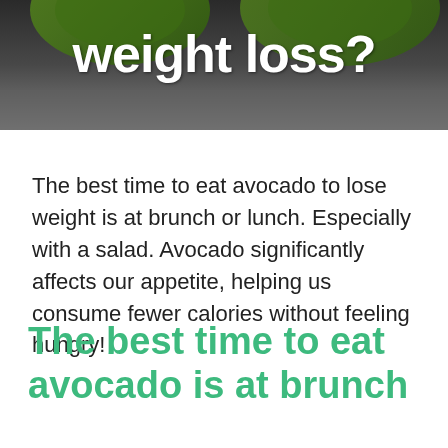[Figure (photo): Dark background with avocado image, showing text 'weight loss?' in white bold font overlaid on a dark grey/green background with avocado visible at top]
The best time to eat avocado to lose weight is at brunch or lunch. Especially with a salad. Avocado significantly affects our appetite, helping us consume fewer calories without feeling hungry!
The best time to eat avocado is at brunch